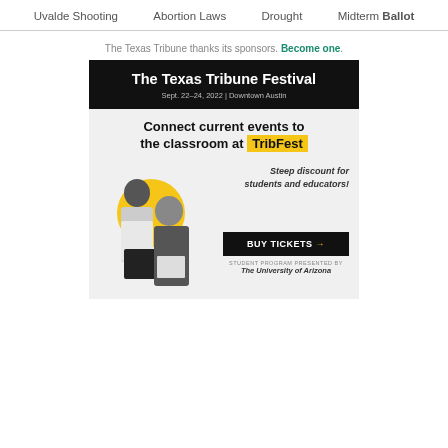Uvalde Shooting  Abortion Laws  Drought  Midterm Ballot
The Texas Tribune thanks its sponsors. Become one.
[Figure (infographic): The Texas Tribune Festival advertisement. Black header bar with white text: 'The Texas Tribune Festival', subtitle 'Sept. 22-24, 2022 | Downtown Austin'. Light gray background with bold text: 'Connect current events to the classroom at TribFest' (TribFest highlighted in yellow). Yellow circle on left with black-and-white photo of two people (man and woman looking at a book). Right side: italic text 'Steep discount for students and educators!', black button 'BUY TICKETS →', small text 'STUDENT PROGRAM PRESENTED BY The University of Arizona'.]